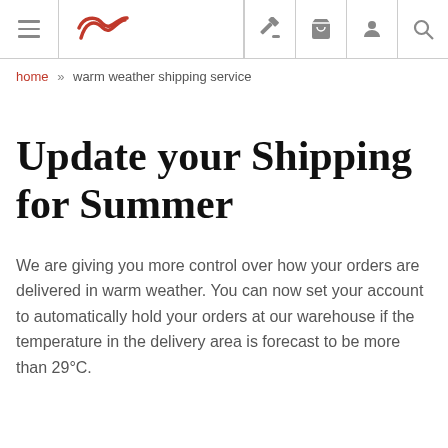[Navigation bar with hamburger menu, logo, auction icon, cart icon, account icon, search icon]
home » warm weather shipping service
Update your Shipping for Summer
We are giving you more control over how your orders are delivered in warm weather. You can now set your account to automatically hold your orders at our warehouse if the temperature in the delivery area is forecast to be more than 29°C.